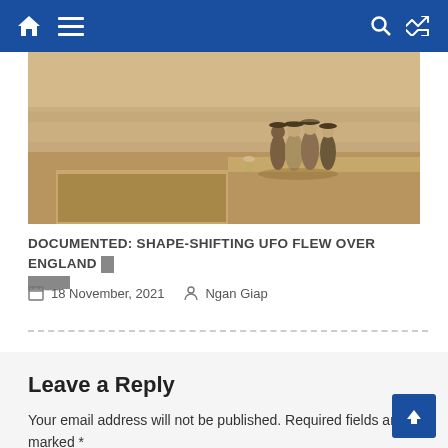Navigation bar with home, menu, search, and shuffle icons
[Figure (photo): Sepia-toned historical photo showing figures in period costumes standing on a terrace or platform with a low wall, misty background landscape]
DOCUMENTED: Shape-Shifting UFO Flew Over England İn ████
18 November, 2021  Ngan Giap
Leave a Reply
Your email address will not be published. Required fields are marked *